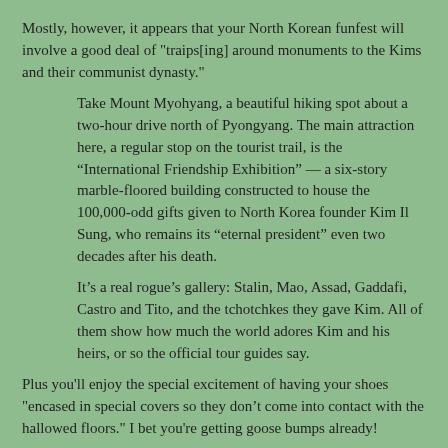Mostly, however, it appears that your North Korean funfest will involve a good deal of "traips[ing] around monuments to the Kims and their communist dynasty."
Take Mount Myohyang, a beautiful hiking spot about a two-hour drive north of Pyongyang. The main attraction here, a regular stop on the tourist trail, is the “International Friendship Exhibition” — a six-story marble-floored building constructed to house the 100,000-odd gifts given to North Korea founder Kim Il Sung, who remains its “eternal president” even two decades after his death.
It’s a real rogue’s gallery: Stalin, Mao, Assad, Gaddafi, Castro and Tito, and the tchotchkes they gave Kim. All of them show how much the world adores Kim and his heirs, or so the official tour guides say.
Plus you'll enjoy the special excitement of having your shoes "encased in special covers so they don’t come into contact with the hallowed floors." I bet you're getting goose bumps already!